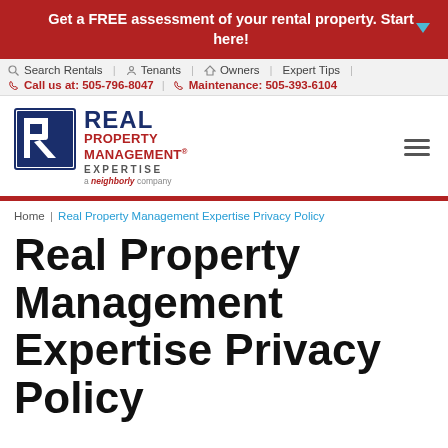Get a FREE assessment of your rental property. Start here!
Search Rentals | Tenants | Owners | Expert Tips | Call us at: 505-796-8047 | Maintenance: 505-393-6104
[Figure (logo): Real Property Management Expertise - a Neighborly company logo with blue R icon]
Home | Real Property Management Expertise Privacy Policy
Real Property Management Expertise Privacy Policy